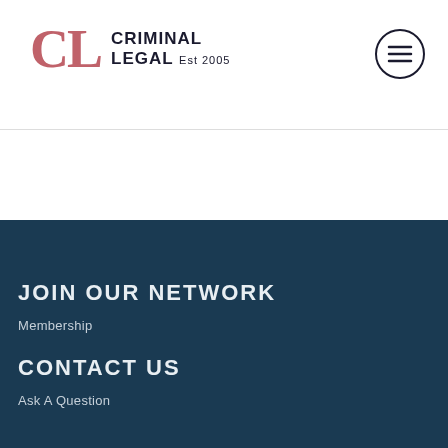[Figure (logo): Criminal Legal logo with pink/red 'CL' letters in serif font and 'CRIMINAL LEGAL Est 2005' text in dark sans-serif]
[Figure (other): Hamburger menu icon — three horizontal lines inside a circle outline]
JOIN OUR NETWORK
Membership
CONTACT US
Ask A Question